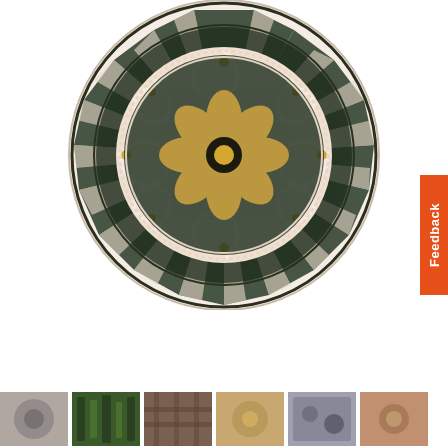[Figure (photo): Circular decorative mosaic with floral center motif, scrollwork, and geometric radiating triangles in black, white, pink/cream, and gold tones]
[Figure (photo): Orange/red vertical Feedback tab on the right side of the page]
[Figure (photo): Row of six small thumbnail images at the bottom of the page showing various mosaic and decorative stone product views]